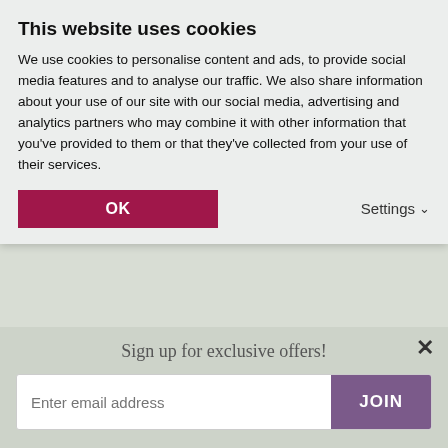This website uses cookies
We use cookies to personalise content and ads, to provide social media features and to analyse our traffic. We also share information about your use of our site with our social media, advertising and analytics partners who may combine it with other information that you've provided to them or that they've collected from your use of their services.
Patio
Cottage Gardens
Low Maintenance Garden
Cut Flower Garden
Woodland Garden
Sign up for exclusive offers!